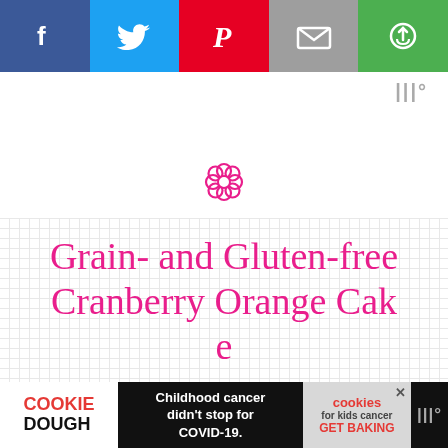[Figure (other): Social media share bar with Facebook (blue), Twitter (light blue), Pinterest (red), Email (gray), and a green share button icons]
[Figure (logo): Wº logo in gray at top right]
[Figure (illustration): Pink flower/decorative icon centered on page]
Grain- and Gluten-free Cranberry Orange Cake
[Figure (other): Five pink heart icons indicating a 5-star rating]
Rated 5.0 by 6 readers
Scroll to top
[Figure (other): Cookie Dough advertisement banner: 'Childhood cancer didn't stop for COVID-19.' with cookies for kids cancer GET BAKING]